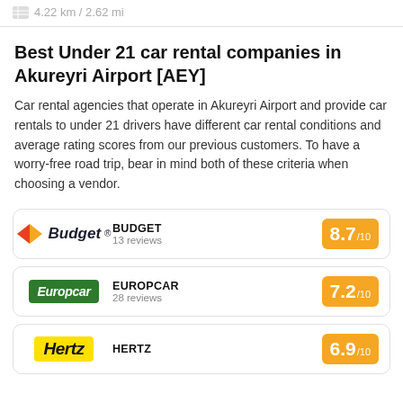4.22 km / 2.62 mi
Best Under 21 car rental companies in Akureyri Airport [AEY]
Car rental agencies that operate in Akureyri Airport and provide car rentals to under 21 drivers have different car rental conditions and average rating scores from our previous customers. To have a worry-free road trip, bear in mind both of these criteria when choosing a vendor.
BUDGET
13 reviews
8.7 / 10
EUROPCAR
28 reviews
7.2 / 10
HERTZ
6.9 / 10